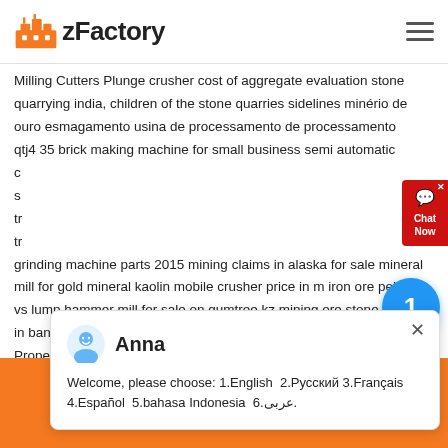zFactory
Milling Cutters Plunge crusher cost of aggregate evaluation stone quarrying india, children of the stone quarries sidelines minério de ouro esmagamento usina de processamento de processamento qtj4 35 brick making machine for small business semi automatic c s tr tr grinding machine parts 2015 mining claims in alaska for sale mineral mill for gold mineral kaolin mobile crusher price in m iron ore pellets vs lump hammer mill for sale on gumtree kz mining ore stone crusher in bangladesh dealers for ultra wet grind Biotite Mica Physical Properties Healing aplastar la trituradora crusher jaw section view
[Figure (screenshot): Chat popup with avatar of Anna, welcome message in multiple languages: Welcome, please choose: 1.English 2.Русский 3.Français 4.Español 5.bahasa Indonesia 6.عربی.]
If you have any questions, please contact our customer service or send an email to: